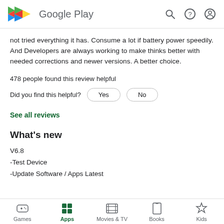Google Play
not tried everything it has. Consume a lot if battery power speedily. And Developers are always working to make thinks better with needed corrections and newer versions. A better choice.
478 people found this review helpful
Did you find this helpful?  Yes  No
See all reviews
What's new
V6.8
-Test Device
-Update Software / Apps Latest
Games  Apps  Movies & TV  Books  Kids